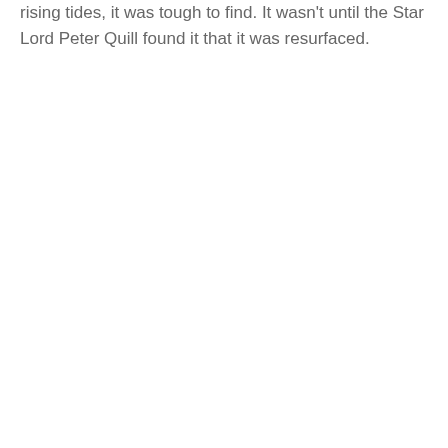rising tides, it was tough to find. It wasn't until the Star Lord Peter Quill found it that it was resurfaced.